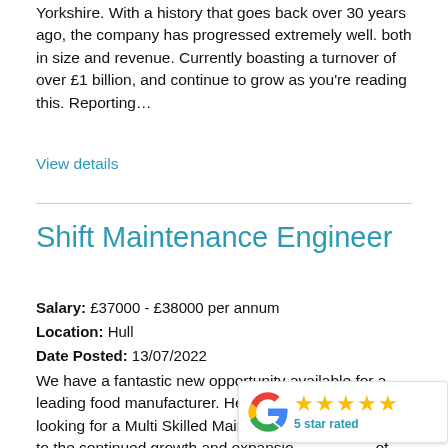Yorkshire. With a history that goes back over 30 years ago, the company has progressed extremely well. both in size and revenue. Currently boasting a turnover of over £1 billion, and continue to grow as you're reading this. Reporting…
View details
Shift Maintenance Engineer
Salary: £37000 - £38000 per annum
Location: Hull
Date Posted: 13/07/2022
We have a fantastic new opportunity available for a leading food manufacturer. Here at Futures, we are looking for a Multi Skilled Maintenance Engineer due to the continued growth and expansion of the business. Shift – 4 on 4 off (DAYS ONLY) Reporting to the Engineering Manager you will take responsibility for
[Figure (logo): Google 5 star rated badge with Google G logo and 5 gold stars]